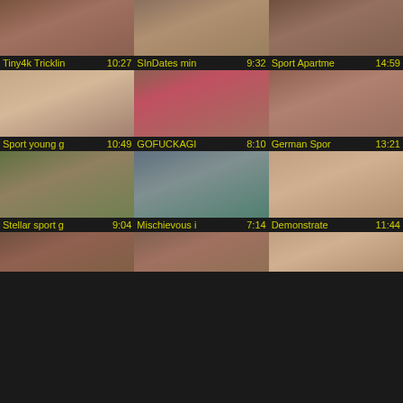[Figure (photo): Video thumbnail grid - row 1, col 1]
Tiny4k Tricklin  10:27
[Figure (photo): Video thumbnail grid - row 1, col 2]
SInDates min  9:32
[Figure (photo): Video thumbnail grid - row 1, col 3]
Sport Apartme  14:59
[Figure (photo): Video thumbnail grid - row 2, col 1]
Sport young g  10:49
[Figure (photo): Video thumbnail grid - row 2, col 2]
GOFUCKAGI  8:10
[Figure (photo): Video thumbnail grid - row 2, col 3]
German Spor  13:21
[Figure (photo): Video thumbnail grid - row 3, col 1]
Stellar sport g  9:04
[Figure (photo): Video thumbnail grid - row 3, col 2]
Mischievous i  7:14
[Figure (photo): Video thumbnail grid - row 3, col 3]
Demonstrate  11:44
[Figure (photo): Video thumbnail grid - row 4, col 1 (partial)]
[Figure (photo): Video thumbnail grid - row 4, col 2 (partial)]
[Figure (photo): Video thumbnail grid - row 4, col 3 (partial)]